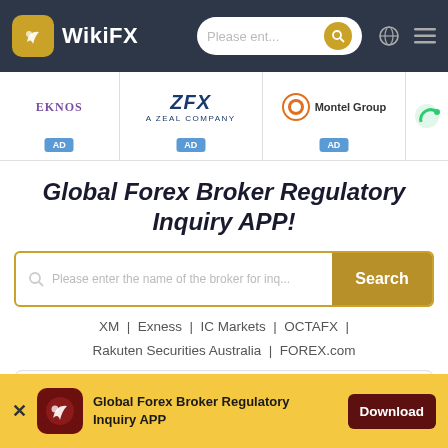WikiFX — Please ent...
[Figure (logo): Ad banner with EKNOS, ZFX (A Zeal Company), Montel Group logos with AD badges]
Global Forex Broker Regulatory Inquiry APP!
Please enter the name of the broker for inq... Search
XM | Exness | IC Markets | OCTAFX | Rakuten Securities Australia | FOREX.com
[Figure (screenshot): Partial card strip at bottom of main content]
Global Forex Broker Regulatory Inquiry APP — Download